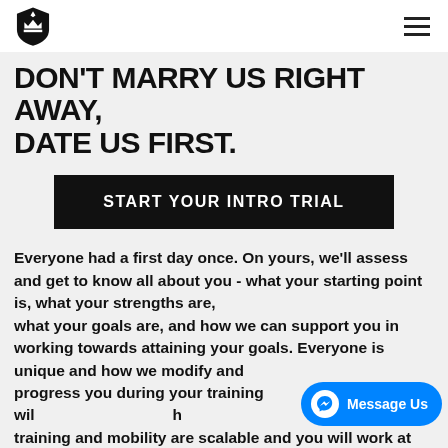[Logo] [Hamburger menu]
DON'T MARRY US RIGHT AWAY, DATE US FIRST.
START YOUR INTRO TRIAL
Everyone had a first day once. On yours, we'll assess and get to know all about you - what your starting point is, what your strengths are, what your goals are, and how we can support you in working towards attaining your goals. Everyone is unique and how we modify and progress you during your training will reflect that. Strength training and mobility are scalable and you will work at your